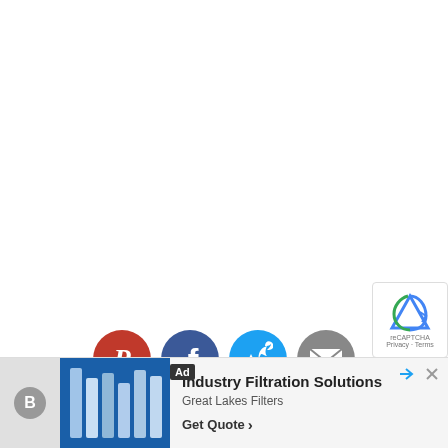[Figure (screenshot): Pin it button with Pinterest-style cursive red italic text on white background with red border]
[Figure (screenshot): Four social media sharing icons in circles: Pinterest (red), Facebook (dark blue), Twitter (light blue), Email (gray)]
[Figure (screenshot): Advertisement banner for Industry Filtration Solutions by Great Lakes Filters with Get Quote button, Ad label, close icons, and reCAPTCHA overlay]